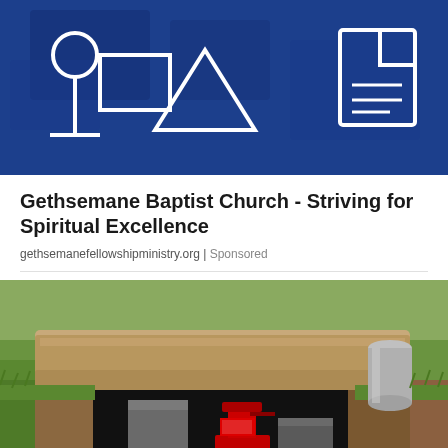[Figure (illustration): Blue background banner with white outline icons: person/profile icon, triangle, rectangle frame, and document/file icon on the right]
Gethsemane Baptist Church - Striving for Spiritual Excellence
gethsemanefellowshipministry.org | Sponsored
[Figure (photo): Outdoor photo showing an underground concrete structure with green grass, a concrete slab lid partially lifted, a cylindrical concrete pipe on the right, and a red hydraulic jack inside the cavity]